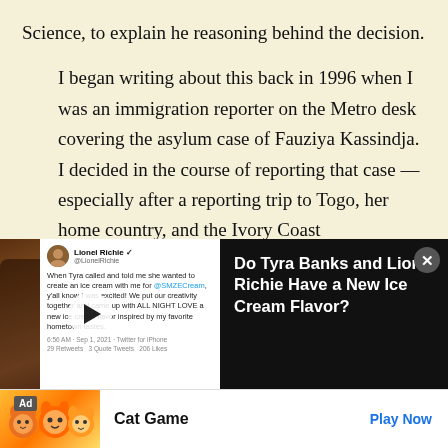Science, to explain he reasoning behind the decision.
I began writing about this back in 1996 when I was an immigration reporter on the Metro desk covering the asylum case of Fauziya Kassindja. I decided in the course of reporting that case — especially after a reporting trip to Togo, her home country, and the Ivory Coast
[Figure (screenshot): Video advertisement overlay showing Tyra Banks and Lionel Richie photo with tweet screenshot, and ad title 'Do Tyra Banks and Lionel Richie Have a New Ice Cream Flavor?']
[Figure (screenshot): Bottom banner advertisement for 'Cat Game' showing cartoon cats with a 'Play Now' button]